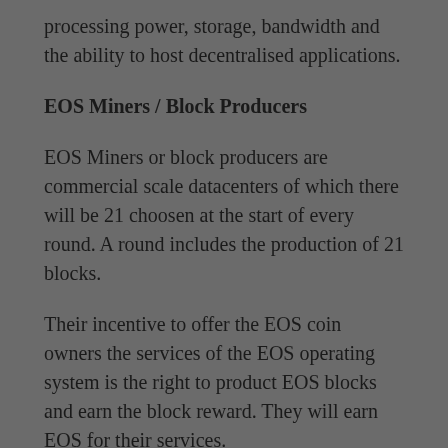processing power, storage, bandwidth and the ability to host decentralised applications.
EOS Miners / Block Producers
EOS Miners or block producers are commercial scale datacenters of which there will be 21 choosen at the start of every round. A round includes the production of 21 blocks.
Their incentive to offer the EOS coin owners the services of the EOS operating system is the right to product EOS blocks and earn the block reward. They will earn EOS for their services.
Unlike Bitcoin, decisions in EOS are not determined by the miners but by those holding EOS coins. This